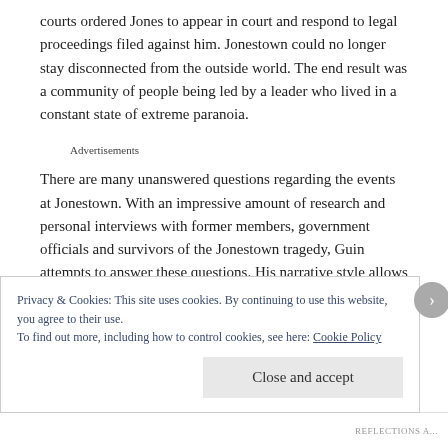courts ordered Jones to appear in court and respond to legal proceedings filed against him. Jonestown could no longer stay disconnected from the outside world. The end result was a community of people being led by a leader who lived in a constant state of extreme paranoia.
Advertisements
There are many unanswered questions regarding the events at Jonestown. With an impressive amount of research and personal interviews with former members, government officials and survivors of the Jonestown tragedy, Guin attempts to answer these questions. His narrative style allows the reader
Privacy & Cookies: This site uses cookies. By continuing to use this website, you agree to their use.
To find out more, including how to control cookies, see here: Cookie Policy
Close and accept